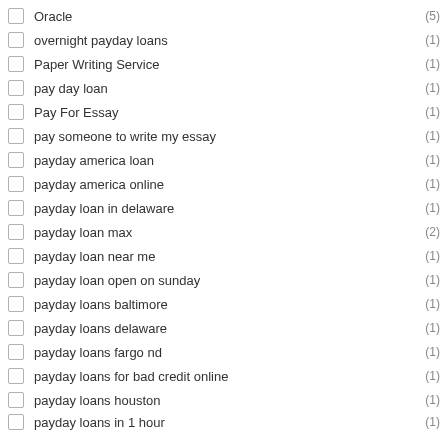Oracle (5)
overnight payday loans (1)
Paper Writing Service (1)
pay day loan (1)
Pay For Essay (1)
pay someone to write my essay (1)
payday america loan (1)
payday america online (1)
payday loan in delaware (1)
payday loan max (2)
payday loan near me (1)
payday loan open on sunday (1)
payday loans baltimore (1)
payday loans delaware (1)
payday loans fargo nd (1)
payday loans for bad credit online (1)
payday loans houston (1)
payday loans in 1 hour (1)